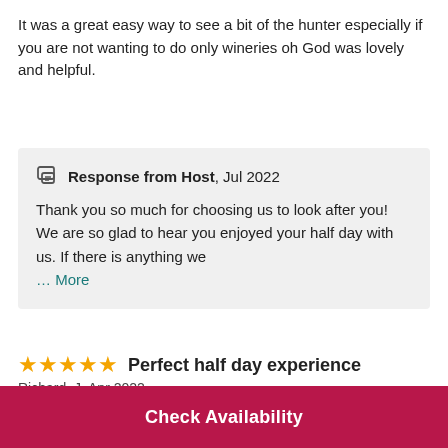It was a great easy way to see a bit of the hunter especially if you are not wanting to do only wineries oh God was lovely and helpful.
Response from Host, Jul 2022
Thank you so much for choosing us to look after you! We are so glad to hear you enjoyed your half day with us. If there is anything we
... More
Perfect half day experience
Richard_J, Apr 2022
Relaxing day, didn't feel rushed. Mix of cellar visits
Check Availability